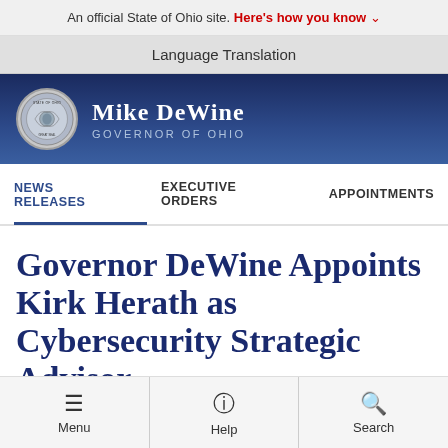An official State of Ohio site. Here's how you know
Language Translation
[Figure (logo): Mike DeWine Governor of Ohio official seal and wordmark on dark blue background]
NEWS RELEASES | EXECUTIVE ORDERS | APPOINTMENTS
Governor DeWine Appoints Kirk Herath as Cybersecurity Strategic Advisor
Menu | Help | Search